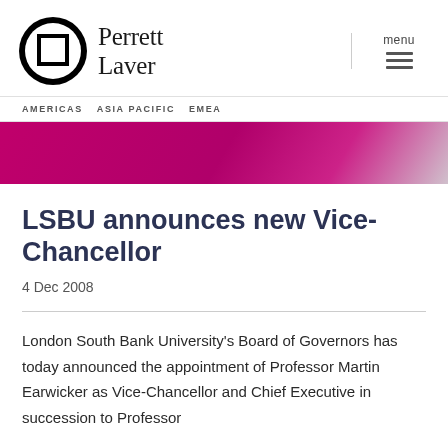[Figure (logo): Perrett Laver logo with circular icon and serif text]
AMERICAS  ASIA PACIFIC  EMEA
[Figure (photo): Magenta/pink gradient hero banner image]
LSBU announces new Vice-Chancellor
4 Dec 2008
London South Bank University's Board of Governors has today announced the appointment of Professor Martin Earwicker as Vice-Chancellor and Chief Executive in succession to Professor